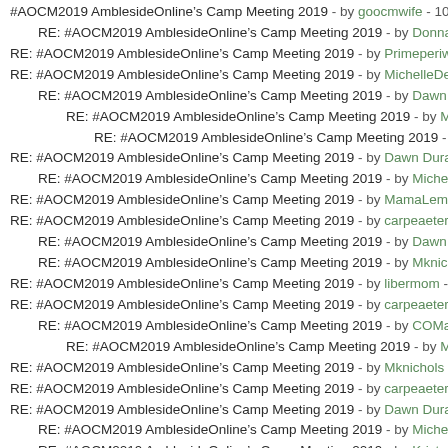#AOCM2019 AmblesideOnline’s Camp Meeting 2019 - by goocmwife - 10-1...
RE: #AOCM2019 AmblesideOnline’s Camp Meeting 2019 - by Donna-Je...
RE: #AOCM2019 AmblesideOnline’s Camp Meeting 2019 - by Primeperiüin...
RE: #AOCM2019 AmblesideOnline’s Camp Meeting 2019 - by MichelleDee...
RE: #AOCM2019 AmblesideOnline’s Camp Meeting 2019 - by Dawn Dur...
RE: #AOCM2019 AmblesideOnline’s Camp Meeting 2019 - by Michell...
RE: #AOCM2019 AmblesideOnline’s Camp Meeting 2019 - by Daw...
RE: #AOCM2019 AmblesideOnline’s Camp Meeting 2019 - by Dawn Duran...
RE: #AOCM2019 AmblesideOnline’s Camp Meeting 2019 - by MichelleD...
RE: #AOCM2019 AmblesideOnline’s Camp Meeting 2019 - by MamaLemon...
RE: #AOCM2019 AmblesideOnline’s Camp Meeting 2019 - by carpeaeterni...
RE: #AOCM2019 AmblesideOnline’s Camp Meeting 2019 - by Dawn Dur...
RE: #AOCM2019 AmblesideOnline’s Camp Meeting 2019 - by Mknichols...
RE: #AOCM2019 AmblesideOnline’s Camp Meeting 2019 - by libermom - 1...
RE: #AOCM2019 AmblesideOnline’s Camp Meeting 2019 - by carpeaeterni...
RE: #AOCM2019 AmblesideOnline’s Camp Meeting 2019 - by COMama...
RE: #AOCM2019 AmblesideOnline’s Camp Meeting 2019 - by Michell...
RE: #AOCM2019 AmblesideOnline’s Camp Meeting 2019 - by Mknichols - ...
RE: #AOCM2019 AmblesideOnline’s Camp Meeting 2019 - by carpeaeterni...
RE: #AOCM2019 AmblesideOnline’s Camp Meeting 2019 - by Dawn Duran...
RE: #AOCM2019 AmblesideOnline’s Camp Meeting 2019 - by MichelleD...
RE: #AOCM2019 AmblesideOnline’s Camp Meeting 2019 - by Kristen V...
RE: #AOCM2019 AmblesideOnline’s Camp Meeting 2019 - by LynnBruce -...
RE: #AOCM2019 AmblesideOnline’s Camp Meeting 2019 - by jeannetteinT...
RE: #AOCM2019 AmblesideOnline’s Camp Meeting 2019 - by Dawn Duran...